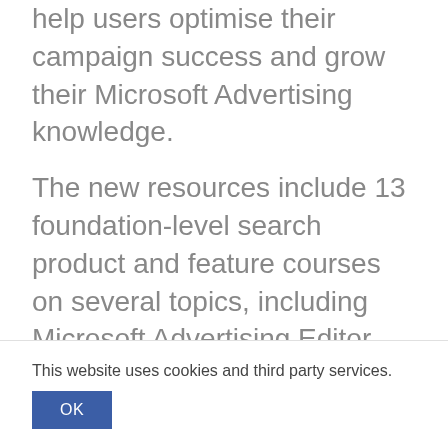help users optimise their campaign success and grow their Microsoft Advertising knowledge.
The new resources include 13 foundation-level search product and feature courses on several topics, including Microsoft Advertising Editor, Google Import, UET and conversion tracking, bidding and budgets, and more.
Users can scroll through course content at their own pace, engage with interactive
This website uses cookies and third party services.
OK